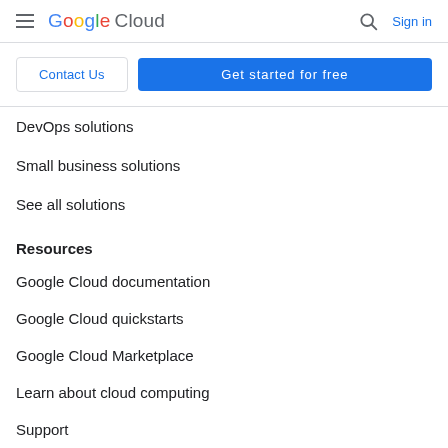Google Cloud — Sign in
Contact Us
Get started for free
DevOps solutions
Small business solutions
See all solutions
Resources
Google Cloud documentation
Google Cloud quickstarts
Google Cloud Marketplace
Learn about cloud computing
Support
Code samples